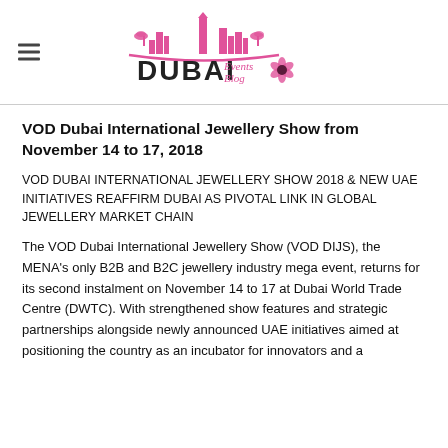Dubai Events Blog
VOD Dubai International Jewellery Show from November 14 to 17, 2018
VOD DUBAI INTERNATIONAL JEWELLERY SHOW 2018 & NEW UAE INITIATIVES REAFFIRM DUBAI AS PIVOTAL LINK IN GLOBAL JEWELLERY MARKET CHAIN
The VOD Dubai International Jewellery Show (VOD DIJS), the MENA's only B2B and B2C jewellery industry mega event, returns for its second instalment on November 14 to 17 at Dubai World Trade Centre (DWTC). With strengthened show features and strategic partnerships alongside newly announced UAE initiatives aimed at positioning the country as an incubator for innovators and a